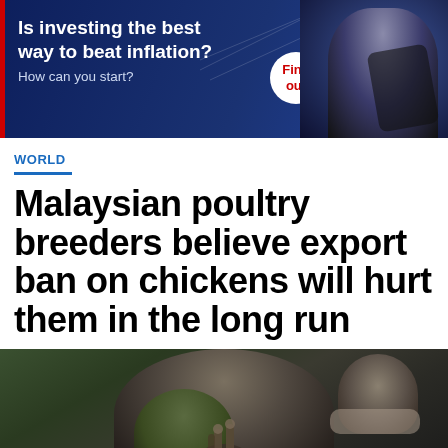[Figure (photo): Advertisement banner with dark blue background showing a woman holding a phone. Text reads: Is investing the best way to beat inflation? How can you start? Find out]
WORLD
Malaysian poultry breeders believe export ban on chickens will hurt them in the long run
[Figure (photo): Photograph of a person wearing a mask and apron, appearing to be at a market, making a hand gesture]